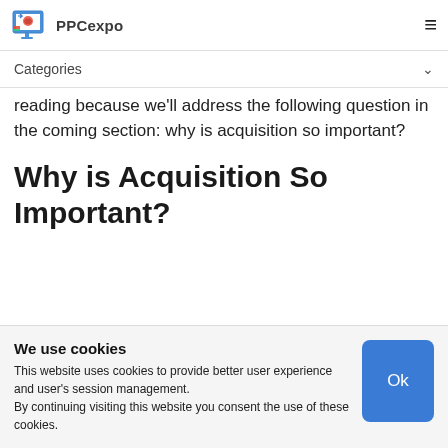PPCexpo
Categories
reading because we'll address the following question in the coming section: why is acquisition so important?
Why is Acquisition So Important?
We use cookies
This website uses cookies to provide better user experience and user's session management. By continuing visiting this website you consent the use of these cookies.